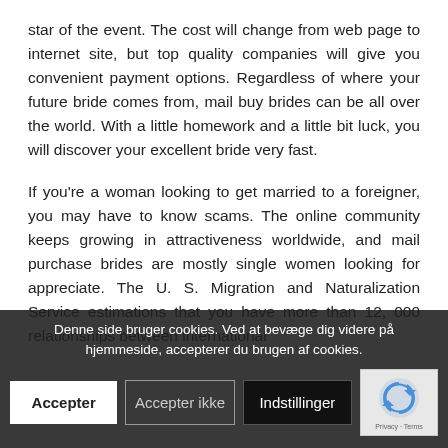star of the event. The cost will change from web page to internet site, but top quality companies will give you convenient payment options. Regardless of where your future bride comes from, mail buy brides can be all over the world. With a little homework and a little bit luck, you will discover your excellent bride very fast.
If you're a woman looking to get married to a foreigner, you may have to know scams. The online community keeps growing in attractiveness worldwide, and mail purchase brides are mostly single women looking for appreciate. The U. S. Migration and Naturalization Service estimations that you have more than 12, 000 relationships between international w... look fu...
For a... oose from a... book on potential brides. The direct...
Denne side bruger cookies. Ved at bevæge dig videre på hjemmeside, accepterer du brugen af cookies.